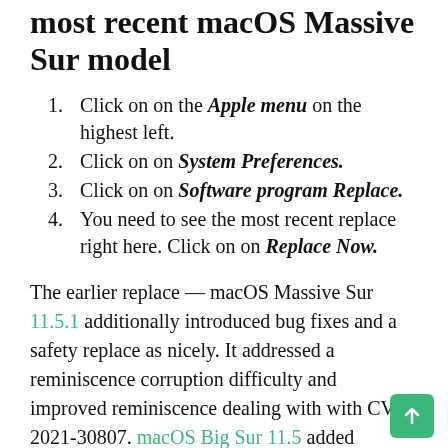most recent macOS Massive Sur model
Click on on the Apple menu on the highest left.
Click on on System Preferences.
Click on on Software program Replace.
You need to see the most recent replace right here. Click on on Replace Now.
The earlier replace — macOS Massive Sur 11.5.1 additionally introduced bug fixes and a safety replace as nicely. It addressed a reminiscence corruption difficulty and improved reminiscence dealing with with CVE-2021-30807. macOS Big Sur 11.5 added